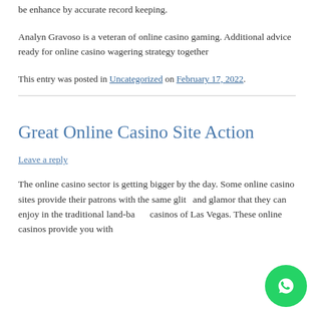be enhance by accurate record keeping.
Analyn Gravoso is a veteran of online casino gaming. Additional advice ready for online casino wagering strategy together
This entry was posted in Uncategorized on February 17, 2022.
Great Online Casino Site Action
Leave a reply
The online casino sector is getting bigger by the day. Some online casino sites provide their patrons with the same glitz and glamor that they can enjoy in the traditional land-based casinos of Las Vegas. These online casinos provide you with